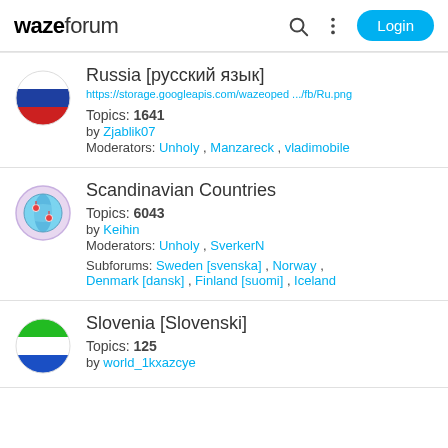waze forum  Login
Russia [русский язык]
https://storage.googleapis.com/wazeoped .../fb/Ru.png
Topics: 1641
by Zjablik07
Moderators: Unholy , Manzareck , vladimobile
Scandinavian Countries
Topics: 6043
by Keihin
Moderators: Unholy , SverkerN
Subforums: Sweden [svenska] , Norway , Denmark [dansk] , Finland [suomi] , Iceland
Slovenia [Slovenski]
Topics: 125
by world_1kxazcye